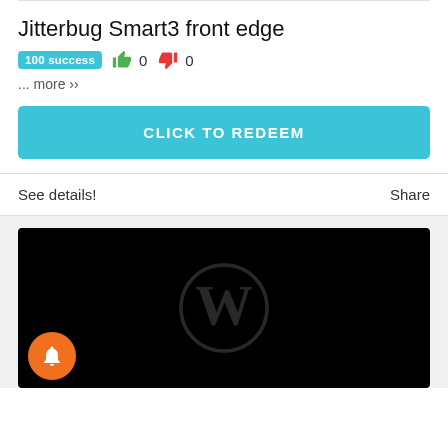Jitterbug Smart3 front edge
100 success  👍 0 👎 0
... more ››
CLICK TO REDEEM
See details!
Share
[Figure (screenshot): Black video thumbnail with WordPress logo (dark circle with W) and a notification bell button (orange circle) in the bottom left corner]